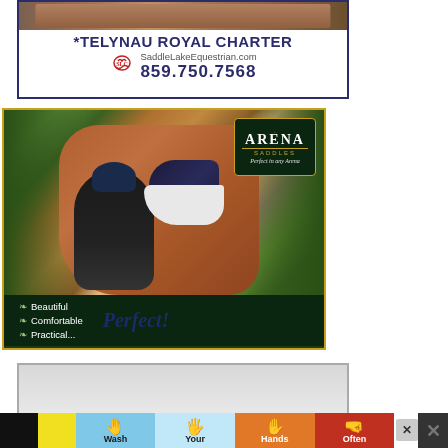[Figure (illustration): Advertisement for Saddle Lake Equestrian featuring *Telynau Royal Charter horse, logo, website SaddleLakeEquestrian.com and phone number 859.750.7568]
[Figure (photo): Advertisement for Arena Saddles showing a rider in black equestrian gear standing next to a chestnut horse wearing a dark blue dressage saddle. Text: Beautiful, Comfortable, Practical..., Perfect!]
[Figure (illustration): Partial advertisement below Arena Saddles ad]
[Figure (illustration): Wash Your Hands Often banner advertisement with hand icons on colored backgrounds]